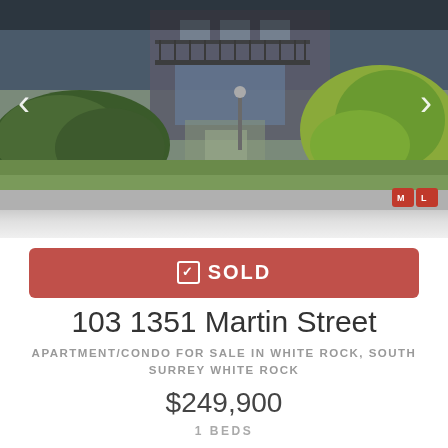[Figure (photo): Exterior photo of apartment/condo building with landscaping, bushes, and grass in front. Two-story building visible with balcony.]
✅ SOLD
103 1351 Martin Street
APARTMENT/CONDO FOR SALE IN WHITE ROCK, SOUTH SURREY WHITE ROCK
$249,900
1 BEDS
1 BATHS